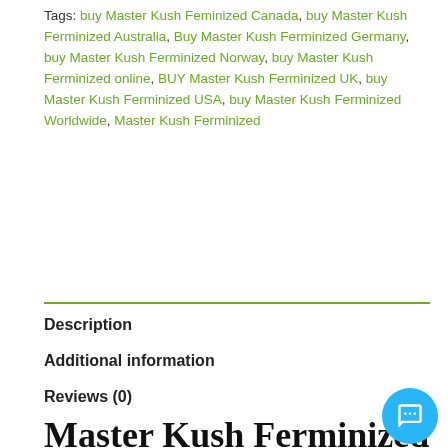Tags: buy Master Kush Feminized Canada, buy Master Kush Ferminized Australia, Buy Master Kush Ferminized Germany, buy Master Kush Ferminized Norway, buy Master Kush Ferminized online, BUY Master Kush Ferminized UK, buy Master Kush Ferminized USA, buy Master Kush Ferminized Worldwide, Master Kush Ferminized
Description
Additional information
Reviews (0)
Master Kush Ferminized
Master Kush is the result of crossing two ancient indica mastodons from the Himalayas: the Hindu Kush and S#1. It is a strain that respects her origins, and in fact say that it is hard to find a strain that can match her.